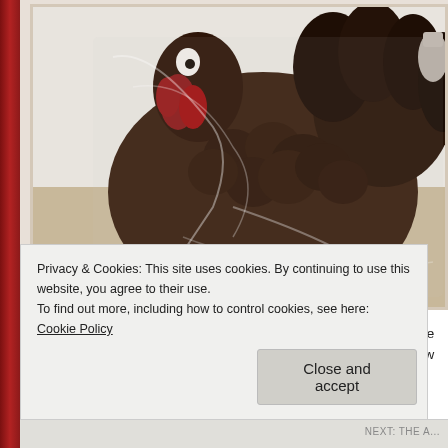[Figure (photo): A chocolate turkey figurine wrapped in clear plastic cellophane, sitting on a light surface. The turkey is dark brown chocolate with red/white detailing on the head area.]
My Mom found a cute linen shop where they embroider personalize from a long line of seamstresses on the Portuguese side and she w had to stop at WoodHouse Chocolate since we needed a little some
Privacy & Cookies: This site uses cookies. By continuing to use this website, you agree to their use.
To find out more, including how to control cookies, see here: Cookie Policy
Close and accept